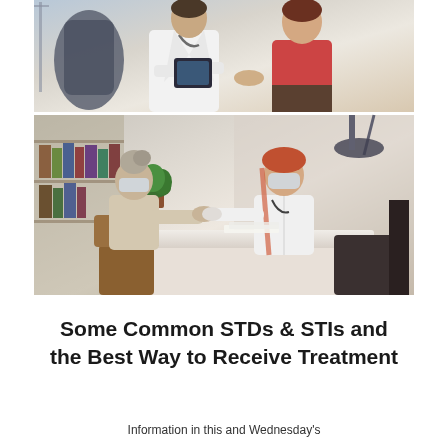[Figure (photo): Two stacked medical consultation photos: top photo shows a doctor in white coat consulting with a patient in pink top using a tablet; bottom photo shows a masked female doctor and masked older patient shaking hands across a desk in a medical office.]
Some Common STDs & STIs and the Best Way to Receive Treatment
Information in this and Wednesday's